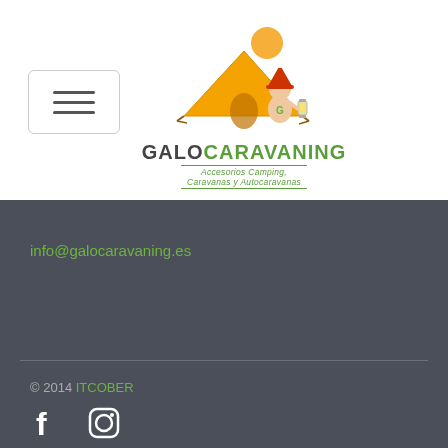[Figure (logo): GaloCaravaning logo with cartoon boy sitting by a tent and lantern, sun in background. Text: GALOCARAVANING, Accesorios Camping, Caravanas y Autocaravanas]
info@galocaravaning.es
© 2014 ITCOBER
[Figure (illustration): Facebook and Instagram social media icons in white]